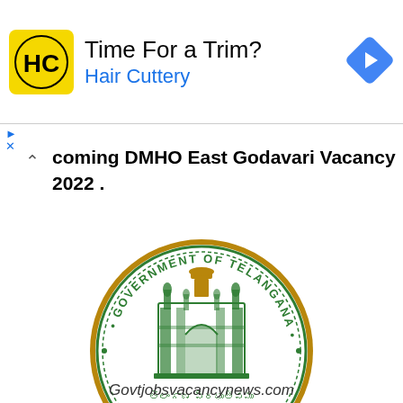[Figure (advertisement): Hair Cuttery advertisement banner with logo showing HC letters, text 'Time For a Trim?' and 'Hair Cuttery', and a blue navigation arrow icon on the right]
coming DMHO East Godavari Vacancy 2022 .
[Figure (logo): Government of Telangana official seal/emblem - circular green and gold seal showing Charminar monument, Ashoka pillar at top, surrounded by text 'GOVERNMENT OF TELANGANA' in English and Telugu and Urdu scripts]
Govtjobsvacancynews.com